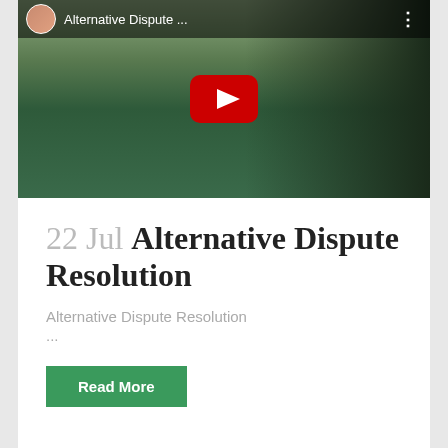[Figure (screenshot): YouTube video thumbnail showing a woman in a green top with a YouTube play button overlay. Top bar shows avatar, title 'Alternative Dispute ...' and three-dot menu.]
22 Jul Alternative Dispute Resolution
Alternative Dispute Resolution
...
Read More